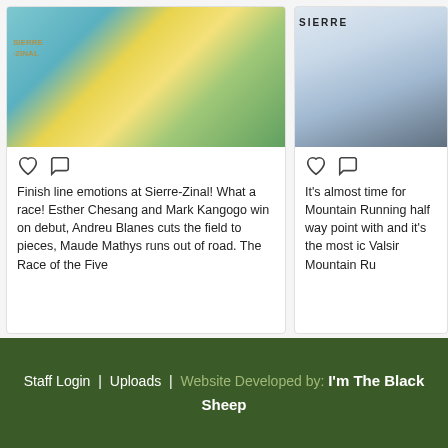[Figure (photo): Photo of finish line emotions at Sierre-Zinal race, showing person in teal shirt receiving yellow flower bouquet]
Finish line emotions at Sierre-Zinal! What a race! Esther Chesang and Mark Kangogo win on debut, Andreu Blanes cuts the field to pieces, Maude Mathys runs out of road. The Race of the Five
[Figure (photo): Photo of runner at Sierre-Zinal race finish area with SIERRE banner visible]
It's almost time for Mountain Running half way point with and it's the most ic Valsir Mountain Ru
Staff Login | Uploads | Website Developed by: I'm The Black Sheep